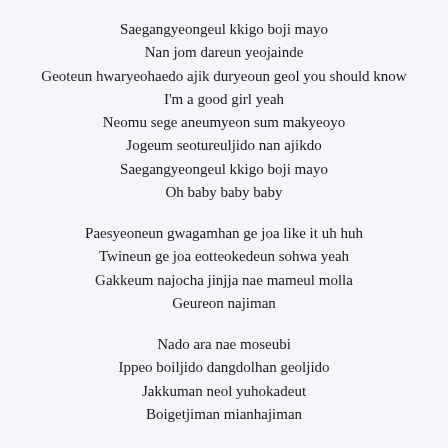Saegangyeongeul kkigo boji mayo
Nan jom dareun yeojainde
Geoteun hwaryeohaedo ajik duryeoun geol you should know
I'm a good girl yeah
Neomu sege aneumyeon sum makyeoyo
Jogeum seotureuljido nan ajikdo
Saegangyeongeul kkigo boji mayo
Oh baby baby baby
Paesyeoneun gwagamhan ge joa like it uh huh
Twineun ge joa eotteokedeun sohwa yeah
Gakkeum najocha jinjja nae mameul molla
Geureon najiman
Nado ara nae moseubi
Ippeo boiljido dangdolhan geoljido
Jakkuman neol yuhokadeut
Boigetjiman mianhajiman